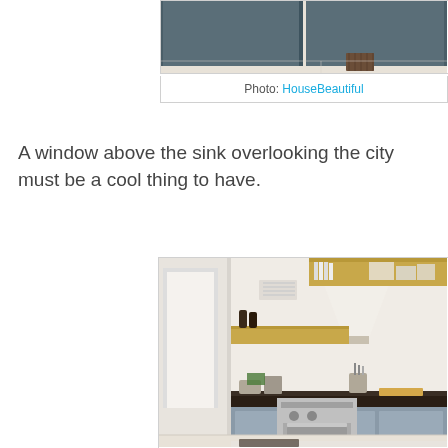[Figure (photo): Top portion of a kitchen photo showing dark gray/blue cabinets with a vent register on the floor]
Photo: HouseBeautiful
A window above the sink overlooking the city must be a cool thing to have.
[Figure (photo): Kitchen with open wooden shelves, a large white range hood, gray lower cabinets with dark countertop, stainless steel range, and various kitchen items on the counter]